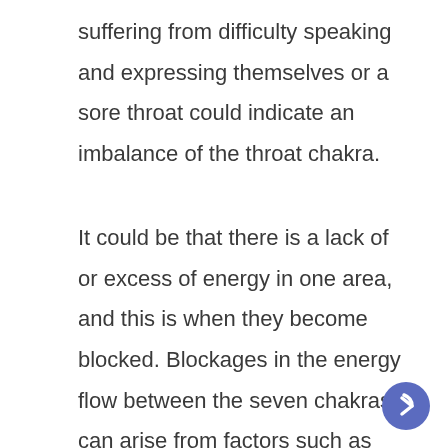suffering from difficulty speaking and expressing themselves or a sore throat could indicate an imbalance of the throat chakra.
It could be that there is a lack of or excess of energy in one area, and this is when they become blocked. Blockages in the energy flow between the seven chakras can arise from factors such as stress, trauma and loss.